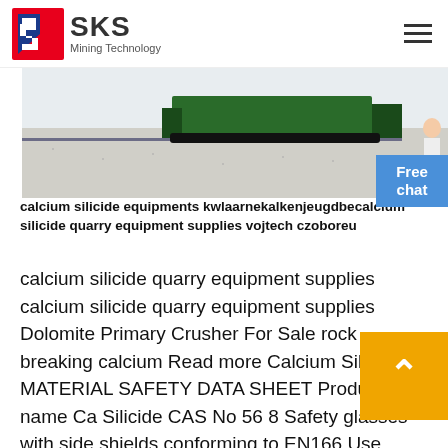SKS Mining Technology
[Figure (photo): Outdoor photo showing mining/quarry equipment on a flat terrain, with a person visible on the right side.]
calcium silicide equipments kwlaarnekalkenjeugdbecalcium silicide quarry equipment supplies vojtech czoboreu
calcium silicide quarry equipment supplies calcium silicide quarry equipment supplies Dolomite Primary Crusher For Sale rock breaking calcium Read more Calcium Silicide MATERIAL SAFETY DATA SHEET Product name Ca Silicide CAS No 56 8 Safety glasses with side shields conforming to EN166 Use equipment for